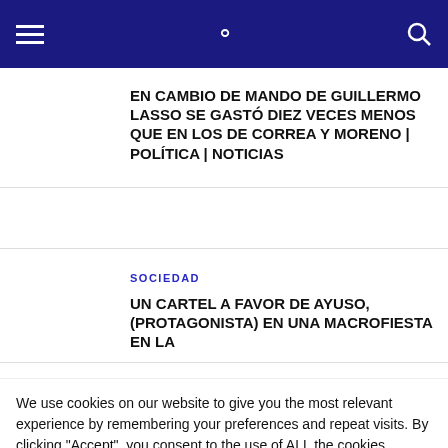Navigation bar with hamburger menu and search icon
EN CAMBIO DE MANDO DE GUILLERMO LASSO SE GASTÓ DIEZ VECES MENOS QUE EN LOS DE CORREA Y MORENO | POLÍTICA | NOTICIAS
SOCIEDAD
UN CARTEL A FAVOR DE AYUSO, (PROTAGONISTA) EN UNA MACROFIESTA EN LA
We use cookies on our website to give you the most relevant experience by remembering your preferences and repeat visits. By clicking "Accept", you consent to the use of ALL the cookies.
Do not sell my personal information.
Cookie settings
ACCEPT